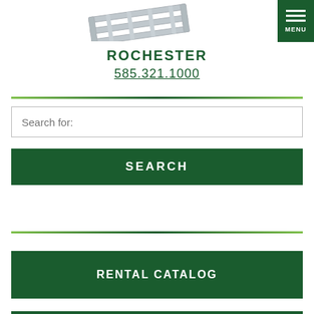[Figure (photo): Partial product image of industrial shelving/rack equipment at the top of the page]
[Figure (other): Dark green menu button with three horizontal white lines and MENU label in top right corner]
ROCHESTER
585.321.1000
Search for:
SEARCH
RENTAL CATALOG
REQUEST A QUOTE